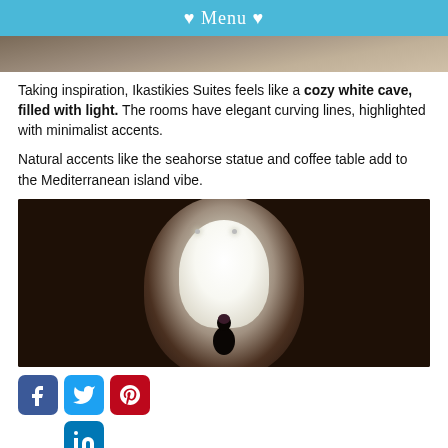♥ Menu ♥
[Figure (photo): Partial top view of a building or rocky surface, cropped]
Taking inspiration, Ikastikies Suites feels like a cozy white cave, filled with light. The rooms have elegant curving lines, highlighted with minimalist accents.
Natural accents like the seahorse statue and coffee table add to the Mediterranean island vibe.
[Figure (photo): A person standing inside a round white cave-like corridor with curved arch walls at Ikastikies Suites, view from behind looking toward a bright doorway]
[Figure (other): Social media icons: Facebook, Twitter, Pinterest, LinkedIn]